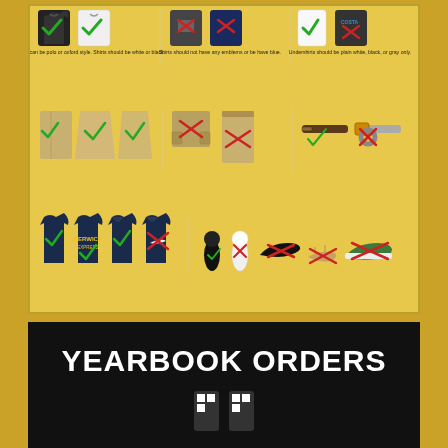[Figure (infographic): School dress code infographic showing allowed and not-allowed clothing items. Three rows: shirts (polo/oxford white or black - allowed, shirts with emblems or navy blue - not allowed, plain white/black/gray undershirts - allowed vs not). Pants/skirts/shorts row (khaki with belt loops - allowed, elastic waistbands/jogger style/capris - not allowed, solid khaki/black/navy/brown belts with buckles not exceeding 2 inches). Sweatshirts/sweaters row (solid white/black/khaki/navy - allowed, logos/brand markings - not allowed, pullover style no hoods) and shoes/socks (solid white/black/brown/navy/khaki socks, shoes must have complete front and back, sandals/thongs/boots to knee not allowed). Green checkmarks indicate allowed, red X marks indicate not allowed.]
Shirts can be polo or oxford style. Shirts should be white or black.
Shirts should not have any emblems or be have blue.
Undershirts should be plain white, black, or gray only.
Pants, shorts and skirts should be khaki/tan with no emblems. Pants and shorts should have waistband with belt loops. Skirts and shorts should be no more than 2 inches above the knee.
Pants and shorts should not have elastic waistbands, outside pockets, or be jogger style. Capris and rolled pants are not allowed.
Belts should be solid khaki/tan, black, navy blue, or brown. Belt buckles should not exceed 2 inches in height.
Sweatshirts and sweaters should be solid white, black, khaki/tan, or navy blue. Logos and contrasting discolorations are not allowed. Sweatshirts should be pullovers in nature and not have hoods. Jackets in the same colors with a full zipper may have hoods. Hoods should not be worn in the building.
Socks should be solid white, black, brown, navy blue, or khaki/tan with no logos or emblems. Shoes must have complete front and back. Sandals, thongs, or boots to the knee are not allowed.
YEARBOOK ORDERS